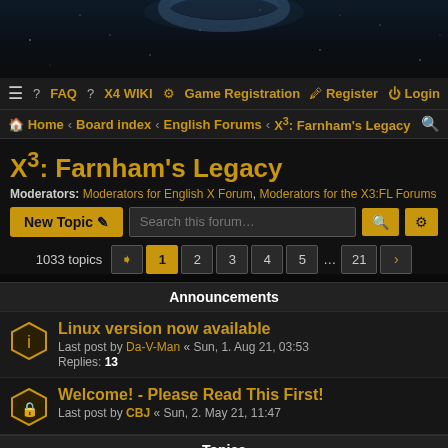[Figure (illustration): Dark space/galaxy banner image with planet or moon visible at top]
≡  FAQ  X4 WIKI  Game Registration    Register  Login
Home › Board index › English Forums › X³: Farnham's Legacy
X³: Farnham's Legacy
Moderators: Moderators for English X Forum, Moderators for the X3:FL Forums
New Topic  Search this forum…
1033 topics  1 2 3 4 5 … 21 ›
Announcements
Linux version now available
Last post by Da-V-Man « Sun, 1. Aug 21, 03:53
Replies: 13
Welcome! - Please Read This First!
Last post by CBJ « Sun, 2. May 21, 11:47
Topics